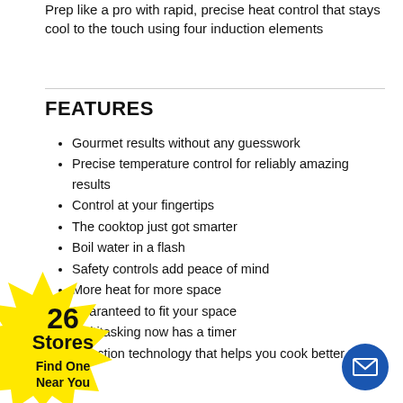Prep like a pro with rapid, precise heat control that stays cool to the touch using four induction elements
FEATURES
Gourmet results without any guesswork
Precise temperature control for reliably amazing results
Control at your fingertips
The cooktop just got smarter
Boil water in a flash
Safety controls add peace of mind
More heat for more space
Guaranteed to fit your space
Multitasking now has a timer
Induction technology that helps you cook better
[Figure (infographic): Yellow starburst badge reading '26 Stores / Find One Near You']
[Figure (infographic): Blue circular email button with envelope icon]